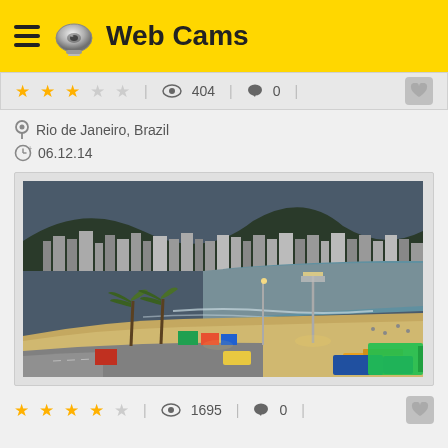Web Cams
★★★☆☆ | 👁 404 | 💬 0
Rio de Janeiro, Brazil
06.12.14
[Figure (photo): Webcam screenshot of Copacabana Beach, Rio de Janeiro, showing the beach, ocean, promenade with palm trees, street lights, buildings along the waterfront, and city traffic at dusk/evening.]
★★★★☆ | 👁 1695 | 💬 0